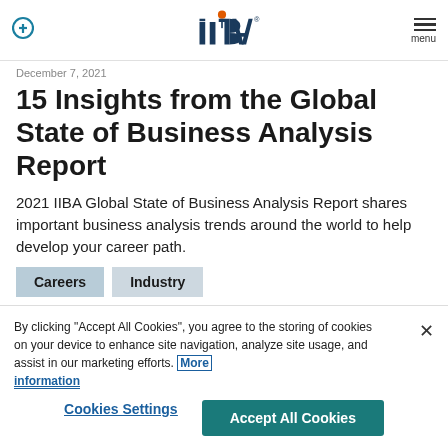IIBA logo, search icon, menu
December 7, 2021
15 Insights from the Global State of Business Analysis Report
2021 IIBA Global State of Business Analysis Report shares important business analysis trends around the world to help develop your career path.
Careers
Industry
By clicking “Accept All Cookies”, you agree to the storing of cookies on your device to enhance site navigation, analyze site usage, and assist in our marketing efforts. More information
Cookies Settings
Accept All Cookies